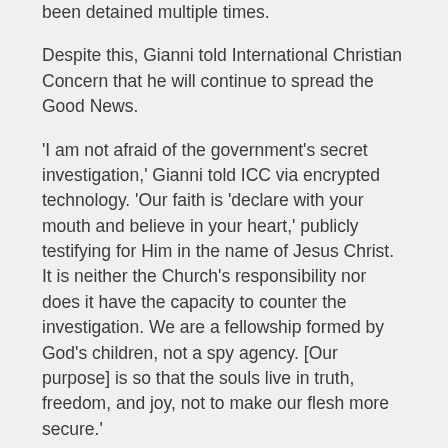been detained multiple times.
Despite this, Gianni told International Christian Concern that he will continue to spread the Good News.
'I am not afraid of the government's secret investigation,' Gianni told ICC via encrypted technology. 'Our faith is 'declare with your mouth and believe in your heart,' publicly testifying for Him in the name of Jesus Christ. It is neither the Church's responsibility nor does it have the capacity to counter the investigation. We are a fellowship formed by God's children, not a spy agency. [Our purpose] is so that the souls live in truth, freedom, and joy, not to make our flesh more secure.'
Protestant churches in China are required to become members of the government-backed Three-Self Patriotic Movement – an action that technically makes the congregations legal but also elicits severe restrictions, such as the editing of sermons. Children also are forbidden from attending Three-Self churches. Because of this, millions of Christians – such as Gianni – worship in illegal house churches...'